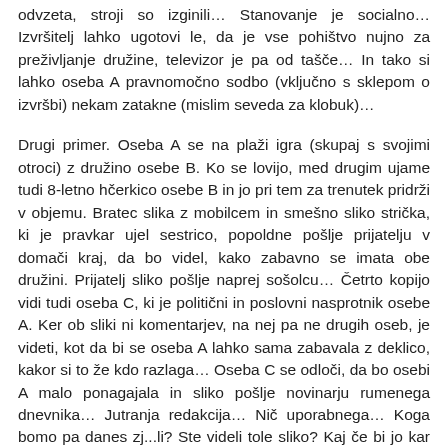odvzeta, stroji so izginili… Stanovanje je socialno… Izvršitelj lahko ugotovi le, da je vse pohištvo nujno za preživljanje družine, televizor je pa od tašče… In tako si lahko oseba A pravnomočno sodbo (vključno s sklepom o izvršbi) nekam zatakne (mislim seveda za klobuk)…
Drugi primer. Oseba A se na plaži igra (skupaj s svojimi otroci) z družino osebe B. Ko se lovijo, med drugim ujame tudi 8-letno hčerkico osebe B in jo pri tem za trenutek pridrži v objemu. Bratec slika z mobilcem in smešno sliko strička, ki je pravkar ujel sestrico, popoldne pošlje prijatelju v domači kraj, da bo videl, kako zabavno se imata obe družini. Prijatelj sliko pošlje naprej sošolcu… Četrto kopijo vidi tudi oseba C, ki je politični in poslovni nasprotnik osebe A. Ker ob sliki ni komentarjev, na nej pa ne drugih oseb, je videti, kot da bi se oseba A lahko sama zabavala z deklico, kakor si to že kdo razlaga… Oseba C se odloči, da bo osebi A malo ponagajala in sliko pošlje novinarju rumenega dnevnika… Jutranja redakcija… Nič uporabnega… Koga bomo pa danes zj...li? Ste videli tole sliko? Kaj če bi jo kar objavili? Če ni res, bo pa že demantiral… Sicer pa: brez milosti! Naslednje jutro osebo A zbudijo klici ob 6. uri zjutraj: »A že veš? Si že videl, kaj je o